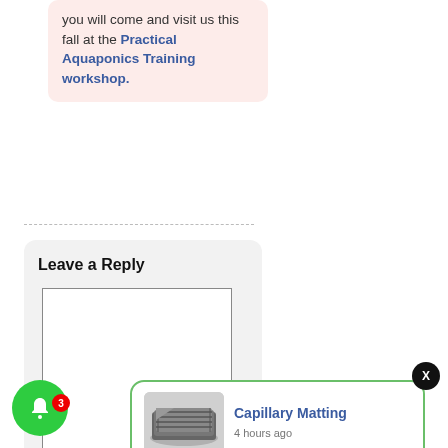you will come and visit us this fall at the Practical Aquaponics Training workshop.
Leave a Reply
You can use these HTML tags
Name (required)
[Figure (photo): Gray capillary matting folded fabric product image]
Capillary Matting
4 hours ago